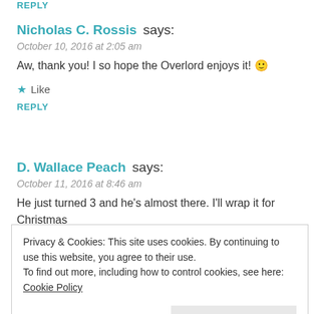REPLY
Nicholas C. Rossis says:
October 10, 2016 at 2:05 am
Aw, thank you! I so hope the Overlord enjoys it! 🙂
★ Like
REPLY
D. Wallace Peach says:
October 11, 2016 at 8:46 am
He just turned 3 and he's almost there. I'll wrap it for Christmas 🙂
Privacy & Cookies: This site uses cookies. By continuing to use this website, you agree to their use.
To find out more, including how to control cookies, see here: Cookie Policy
Close and accept
A lovely gift! 🙂